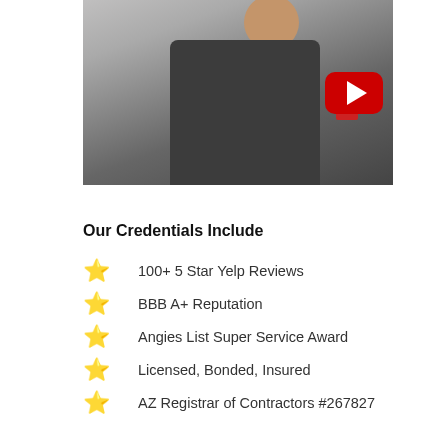[Figure (screenshot): Video thumbnail showing a man in a dark polo shirt with a red YouTube play button overlay in the upper right corner. The man appears to be from a garage door service company.]
Our Credentials Include
100+ 5 Star Yelp Reviews
BBB A+ Reputation
Angies List Super Service Award
Licensed, Bonded, Insured
AZ Registrar of Contractors #267827